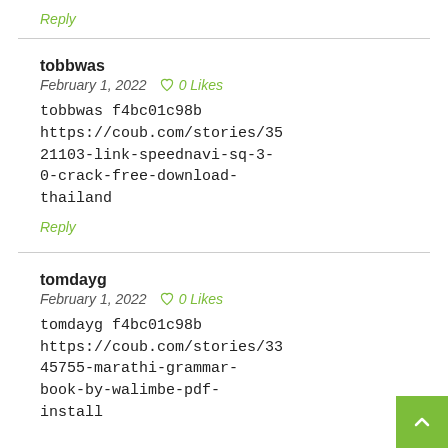Reply
tobbwas
February 1, 2022   ♡ 0 Likes
tobbwas f4bc01c98b https://coub.com/stories/3521103-link-speednavi-sq-3-0-crack-free-download-thailand
Reply
tomdayg
February 1, 2022   ♡ 0 Likes
tomdayg f4bc01c98b https://coub.com/stories/3345755-marathi-grammar-book-by-walimbe-pdf-install